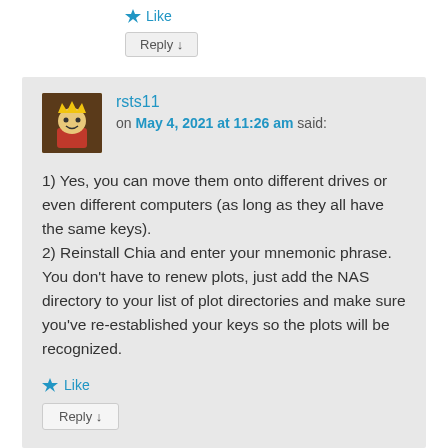★ Like
Reply ↓
rsts11
on May 4, 2021 at 11:26 am said:
1) Yes, you can move them onto different drives or even different computers (as long as they all have the same keys).
2) Reinstall Chia and enter your mnemonic phrase. You don't have to renew plots, just add the NAS directory to your list of plot directories and make sure you've re-established your keys so the plots will be recognized.
★ Like
Reply ↓